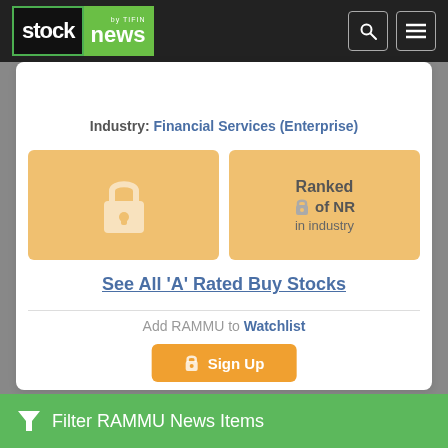stock news by TIFIN
[Figure (other): Blurred chart area with two colored dots (red and gold) and blurred lines, partially visible behind the main card]
Industry: Financial Services (Enterprise)
[Figure (other): Orange lock icon box (locked content placeholder)]
Ranked 🔒 of NR in industry
See All 'A' Rated Buy Stocks
Add RAMMU to Watchlist
🔒 Sign Up
▼ Filter RAMMU News Items